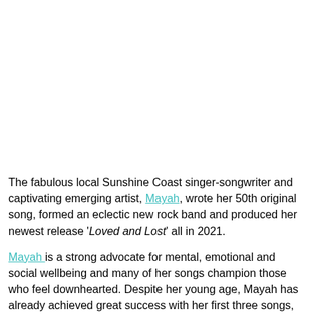The fabulous local Sunshine Coast singer-songwriter and captivating emerging artist, Mayah, wrote her 50th original song, formed an eclectic new rock band and produced her newest release 'Loved and Lost' all in 2021.
Mayah is a strong advocate for mental, emotional and social wellbeing and many of her songs champion those who feel downhearted. Despite her young age, Mayah has already achieved great success with her first three songs, clocking over half a million Spotify streams so far.